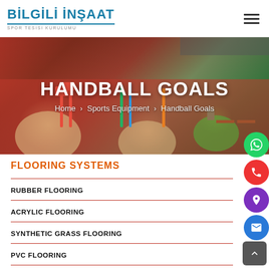BİLGİLİ İNŞAAT SPOR TESİSİ KURULUMU
[Figure (photo): Playground / sports court area with red rubber flooring, colorful equipment, and green areas in the background, serving as a hero banner]
HANDBALL GOALS
Home > Sports Equipment > Handball Goals
FLOORING SYSTEMS
RUBBER FLOORING
ACRYLIC FLOORING
SYNTHETIC GRASS FLOORING
PVC FLOORING
TERRAZZO – CAST-IN-SITU SYNTHETIC RESIN MOSAIC STONE